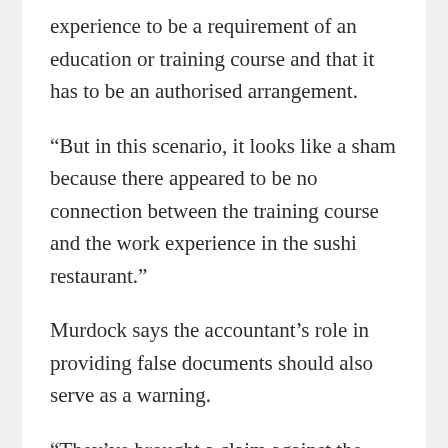experience to be a requirement of an education or training course and that it has to be an authorised arrangement.
“But in this scenario, it looks like a sham because there appeared to be no connection between the training course and the work experience in the sushi restaurant.”
Murdock says the accountant’s role in providing false documents should also serve as a warning.
“They’ve brought a claim against the accountant too because he has falsified payslips and in doing that, he was aiding and